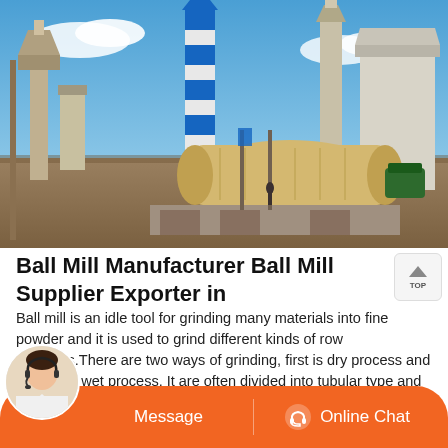[Figure (photo): Outdoor industrial ball mill facility with large cylindrical grinding drum, blue and white silos/towers, cranes and industrial equipment against a blue sky with light clouds.]
Ball Mill Manufacturer Ball Mill Supplier Exporter in
Ball mill is an idle tool for grinding many materials into fine powder and it is used to grind different kinds of row materials.There are two ways of grinding, first is dry process and second is wet process. It are often divided into tubular type and flowing type consistent with various sorts of discharging material.